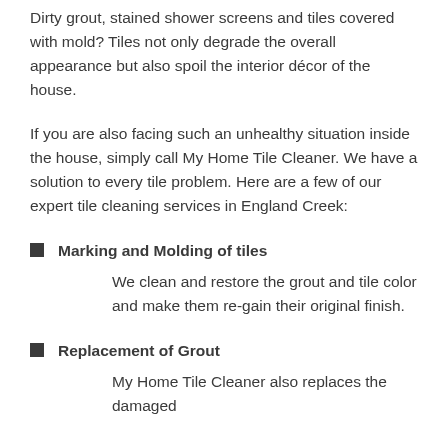Dirty grout, stained shower screens and tiles covered with mold? Tiles not only degrade the overall appearance but also spoil the interior décor of the house.
If you are also facing such an unhealthy situation inside the house, simply call My Home Tile Cleaner. We have a solution to every tile problem. Here are a few of our expert tile cleaning services in England Creek:
Marking and Molding of tiles
We clean and restore the grout and tile color and make them re-gain their original finish.
Replacement of Grout
My Home Tile Cleaner also replaces the damaged